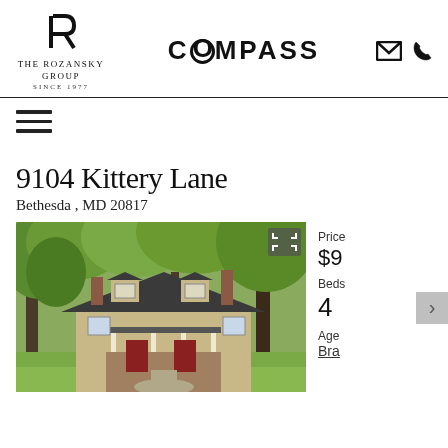[Figure (logo): The Rozansky Group Since 1977 logo with stylized R]
[Figure (logo): COMPASS wordmark logo]
[Figure (infographic): Email and phone contact icons]
[Figure (other): Hamburger menu icon (three horizontal lines)]
9104 Kittery Lane
Bethesda , MD 20817
[Figure (photo): Exterior photo of a Colonial-style house with dark roof, dormers, front porch with red doors, surrounded by large green trees and lawn]
Price
$9
Beds
4
Age
Bra